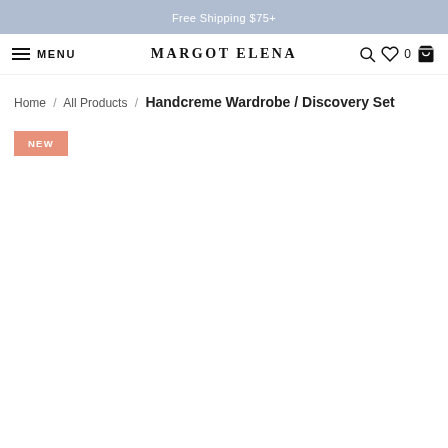Free Shipping $75+
MENU  MARGOT ELENA  0
Home / All Products / Handcreme Wardrobe / Discovery Set
NEW